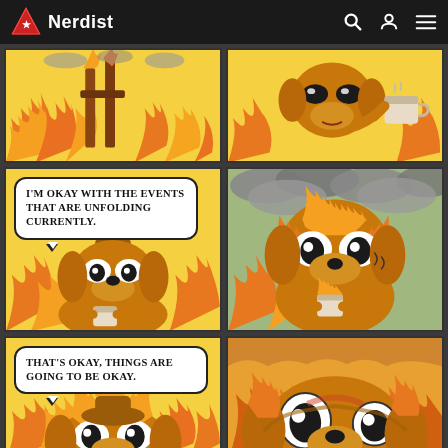Nerdist
[Figure (illustration): Six-panel comic strip from the 'This is Fine' dog meme. Row 1: Two panels showing a cartoon dog sitting in a burning room, one panel showing wooden beams/posts on fire, the other showing the dog with sunglasses holding a coffee cup next to fire. Row 2, left panel: Dog with hat holding coffee cup with speech bubble reading 'I'M OKAY WITH THE EVENTS THAT ARE UNFOLDING CURRENTLY.' Row 2, right panel: Dog on fire in smoke-filled environment struggling with a burning cup. Row 3, left panel: Dog on fire with speech bubble reading 'THAT'S OKAY, THINGS ARE GOING TO BE OKAY.' Row 3, right panel: Dog's face engulfed in flames with wide eyes.]